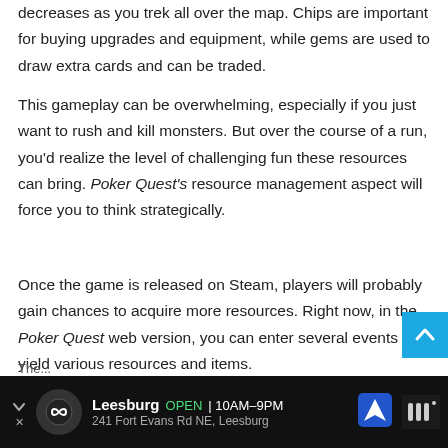decreases as you trek all over the map. Chips are important for buying upgrades and equipment, while gems are used to draw extra cards and can be traded.
This gameplay can be overwhelming, especially if you just want to rush and kill monsters. But over the course of a run, you'd realize the level of challenging fun these resources can bring. Poker Quest's resource management aspect will force you to think strategically.
Once the game is released on Steam, players will probably gain chances to acquire more resources. Right now, in the Poker Quest web version, you can enter several events that yield various resources and items.
Surviving Your First Run
[Figure (other): Advertisement banner: Leesburg store, OPEN 10AM-9PM, 241 Fort Evans Rd NE Leesburg, with navigation icon and brand logo]